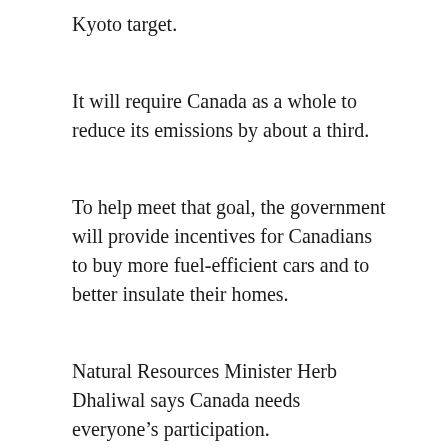Kyoto target.
It will require Canada as a whole to reduce its emissions by about a third.
To help meet that goal, the government will provide incentives for Canadians to buy more fuel-efficient cars and to better insulate their homes.
Natural Resources Minister Herb Dhaliwal says Canada needs everyone’s participation.